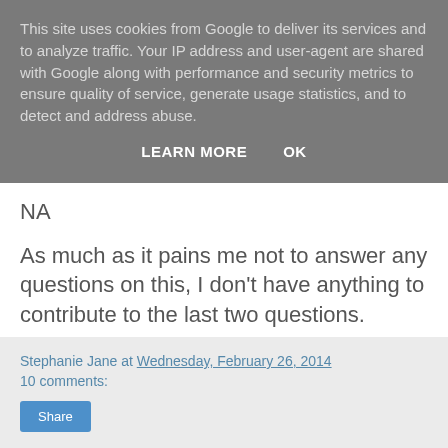This site uses cookies from Google to deliver its services and to analyze traffic. Your IP address and user-agent are shared with Google along with performance and security metrics to ensure quality of service, generate usage statistics, and to detect and address abuse.
LEARN MORE   OK
NA
As much as it pains me not to answer any questions on this, I don't have anything to contribute to the last two questions.
Stephanie Jane at Wednesday, February 26, 2014
10 comments:
Share